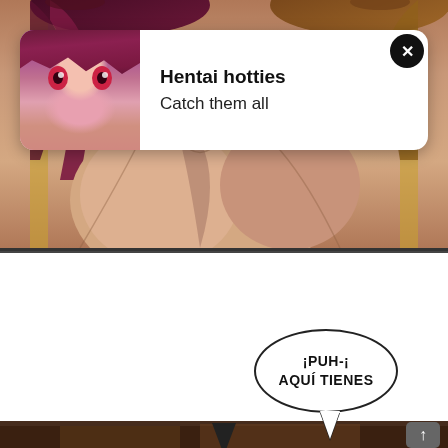[Figure (illustration): Top manga/anime panel showing close-up of anime-style characters with skin tones, part of a manga comic page. An advertisement overlay is on top showing an anime girl character.]
Hentai hotties
Catch them all
[Figure (illustration): Middle white manga panel (largely blank/white space). Speech bubble at lower right reads: ¡PUH-¡ AQUÍ TIENES]
¡PUH-¡ AQUÍ TIENES
[Figure (illustration): Bottom manga panel showing interior room scene in warm brown tones.]